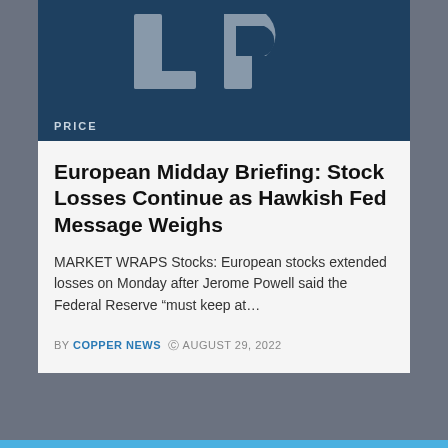[Figure (logo): Dark blue background with large stylized 'LP' letters in gray, with PRICE label at bottom left]
European Midday Briefing: Stock Losses Continue as Hawkish Fed Message Weighs
MARKET WRAPS Stocks: European stocks extended losses on Monday after Jerome Powell said the Federal Reserve “must keep at…
BY COPPER NEWS © AUGUST 29, 2022